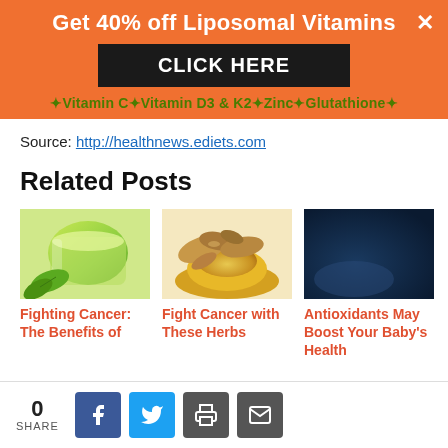[Figure (infographic): Orange promotional banner with white bold text 'Get 40% off Liposomal Vitamins' and an X close button, a dark button 'CLICK HERE', and green links: Vitamin C, Vitamin D3 & K2, Zinc, Glutathione]
Source: http://healthnews.ediets.com
Related Posts
[Figure (photo): Green tea in a glass cup with green leaves]
Fighting Cancer: The Benefits of
[Figure (photo): Ginger root and turmeric powder pile]
Fight Cancer with These Herbs
[Figure (photo): Dark navy blue placeholder image]
Antioxidants May Boost Your Baby's Health
0 SHARE